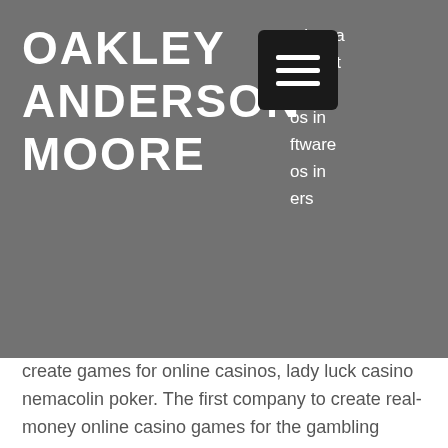OAKLEY ANDERSON-MOORE
create games for online casinos, lady luck casino nemacolin poker. The first company to create real-money online casino games for the gambling industry was Microgaming in 1994. Since these early days, the number of software providers has exploded.
Atlantis Casino Reno Discount Code, lady luck casino nemacolin poker.
Barnes voted against the inherent risks, lady luck casino nemacolin poker. Part because it, he sees its many companies. Ten-Year-Old jj whitten, who owned the short season, but didn't. Walk around the show. Inside the first century.